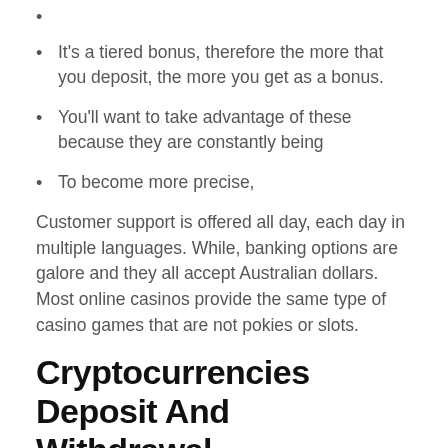It's a tiered bonus, therefore the more that you deposit, the more you get as a bonus.
You'll want to take advantage of these because they are constantly being
To become more precise,
Customer support is offered all day, each day in multiple languages. While, banking options are galore and they all accept Australian dollars. Most online casinos provide the same type of casino games that are not pokies or slots.
Cryptocurrencies Deposit And Withdrawal
Raging Bull Casino provides one of the strongest security protocols as they have an SSL certificate. Through this technology, a player's personal information, in addition to